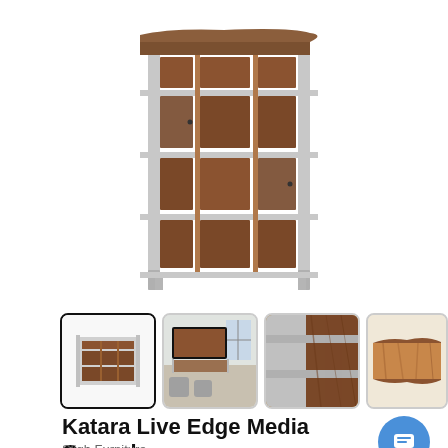[Figure (photo): Main product photo of Katara Live Edge Media Console - a wide wooden media console with multiple open shelves and compartments, featuring a live edge wood top and chrome/silver metal frame legs, shown against white background]
[Figure (photo): Thumbnail 1 (selected): Front view of the Katara Live Edge Media Console showing shelves and chrome frame]
[Figure (photo): Thumbnail 2: Room setting showing the media console with a large TV on top in a living room]
[Figure (photo): Thumbnail 3: Close-up detail of the wood grain and chrome frame corner joint]
[Figure (photo): Thumbnail 4: Close-up of the live edge wood surface showing natural wood grain]
Katara Live Edge Media Console
Sligh Furniture